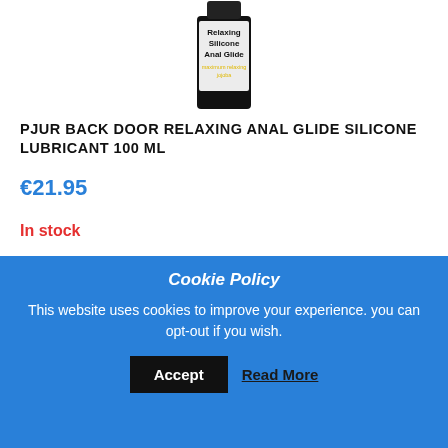[Figure (photo): Top portion of a black bottle of Pjur Back Door Relaxing Silicone Anal Glide lubricant, showing label text 'Relaxing Silicone Anal Glide maximum relaxing jojoba']
PJUR BACK DOOR RELAXING ANAL GLIDE SILICONE LUBRICANT 100 ML
€21.95
In stock
Add to cart
[Figure (photo): Bottom portion of a black bottle product, showing the cap and top of a dark bottle with a small orange dot visible]
Cookie Policy
This website uses cookies to improve your experience. you can opt-out if you wish.
Accept
Read More